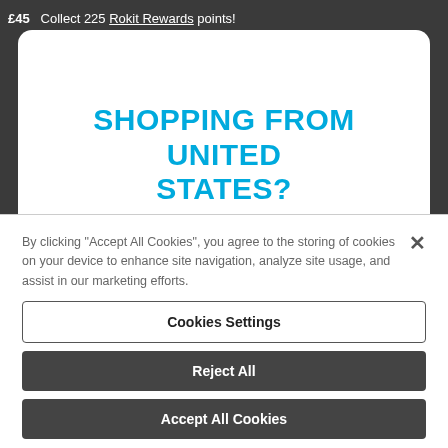£45   Collect 225 Rokit Rewards points!
SHOPPING FROM UNITED STATES?
By clicking "Accept All Cookies", you agree to the storing of cookies on your device to enhance site navigation, analyze site usage, and assist in our marketing efforts.
Cookies Settings
Reject All
Accept All Cookies